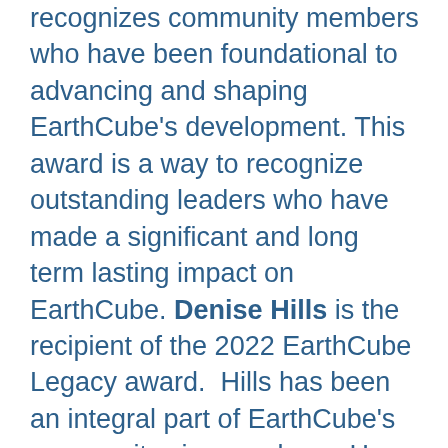recognizes community members who have been foundational to advancing and shaping EarthCube's development. This award is a way to recognize outstanding leaders who have made a significant and long term lasting impact on EarthCube. Denise Hills is the recipient of the 2022 EarthCube Legacy award.  Hills has been an integral part of EarthCube's community since early on. Her participation in the Engagement and Science committees, and in the Leadership team, over the history of EarthCube should be recognized. She helped craft the Code of Conduct, and played an important role in supporting the Annual Meetings,